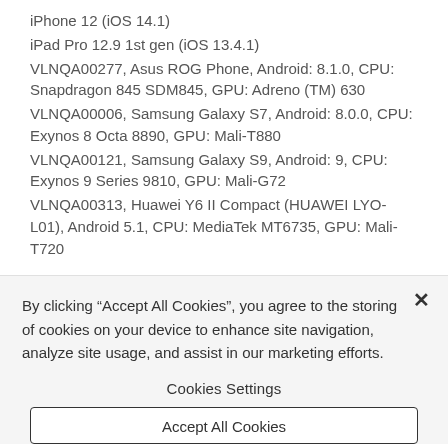iPhone 12 (iOS 14.1)
iPad Pro 12.9 1st gen (iOS 13.4.1)
VLNQA00277, Asus ROG Phone, Android: 8.1.0, CPU: Snapdragon 845 SDM845, GPU: Adreno (TM) 630
VLNQA00006, Samsung Galaxy S7, Android: 8.0.0, CPU: Exynos 8 Octa 8890, GPU: Mali-T880
VLNQA00121, Samsung Galaxy S9, Android: 9, CPU: Exynos 9 Series 9810, GPU: Mali-G72
VLNQA00313, Huawei Y6 II Compact (HUAWEI LYO-L01), Android 5.1, CPU: MediaTek MT6735, GPU: Mali-T720
By clicking “Accept All Cookies”, you agree to the storing of cookies on your device to enhance site navigation, analyze site usage, and assist in our marketing efforts.
Cookies Settings
Accept All Cookies